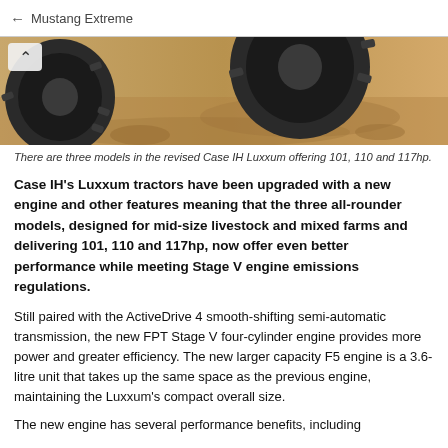← Mustang Extreme
[Figure (photo): Close-up photo of a tractor tire on dirt/soil terrain with earth background.]
There are three models in the revised Case IH Luxxum offering 101, 110 and 117hp.
Case IH's Luxxum tractors have been upgraded with a new engine and other features meaning that the three all-rounder models, designed for mid-size livestock and mixed farms and delivering 101, 110 and 117hp, now offer even better performance while meeting Stage V engine emissions regulations.
Still paired with the ActiveDrive 4 smooth-shifting semi-automatic transmission, the new FPT Stage V four-cylinder engine provides more power and greater efficiency. The new larger capacity F5 engine is a 3.6-litre unit that takes up the same space as the previous engine, maintaining the Luxxum's compact overall size.
The new engine has several performance benefits, including